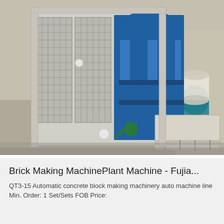[Figure (photo): Photo of a large industrial brick making machine / concrete block making machine with a grey metal frame structure enclosing blue hydraulic components. The machine has a wire mesh safety guard on the left side and a conveyor platform on the right. A logo reading 'BINGHE' is visible on the upper right of the machine. The machine is photographed in a factory/warehouse setting.]
Brick Making MachinePlant Machine - Fujia...
QT3-15 Automatic concrete block making machinery auto machine line Min. Order: 1 Set/Sets FOB Price: